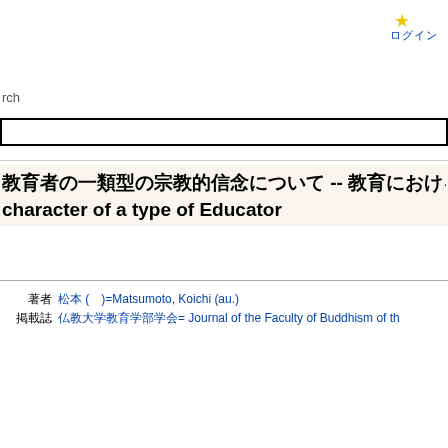★ ログイン
rch
[Figure (screenshot): Search input box with black border]
教育者の一類型の宗教的信念について -- 教育における宗教=The Religious Belief character of a type of Educator
|  |  |
| --- | --- |
| 著者 | 松本 (）=Matsumoto, Koichi (au.) |
| 掲載誌 | 仏教大学教育学部学会= Journal of the Faculty of Buddhism of th... |